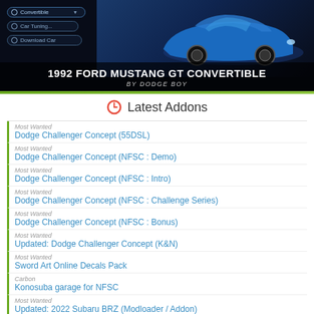[Figure (screenshot): Hero banner showing a blue 1992 Ford Mustang GT Convertible in a racing game UI with menu options: Convertible, Car Tuning, Download Car. Title text: 1992 FORD MUSTANG GT CONVERTIBLE BY DODGE BOY]
Latest Addons
Most Wanted — Dodge Challenger Concept (55DSL)
Most Wanted — Dodge Challenger Concept (NFSC : Demo)
Most Wanted — Dodge Challenger Concept (NFSC : Intro)
Most Wanted — Dodge Challenger Concept (NFSC : Challenge Series)
Most Wanted — Dodge Challenger Concept (NFSC : Bonus)
Most Wanted — Updated: Dodge Challenger Concept (K&N)
Most Wanted — Sword Art Online Decals Pack
Carbon — Konosuba garage for NFSC
Most Wanted — Updated: 2022 Subaru BRZ (Modloader / Addon)